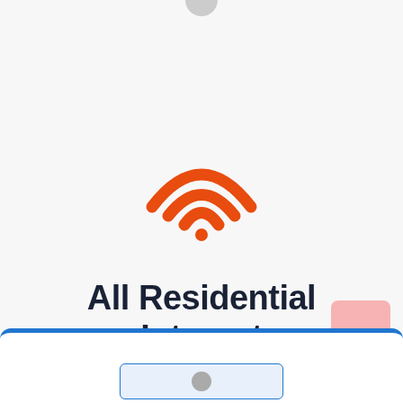[Figure (infographic): WiFi symbol icon in orange color, centered on the page]
All Residential Internet Providers in Raymond